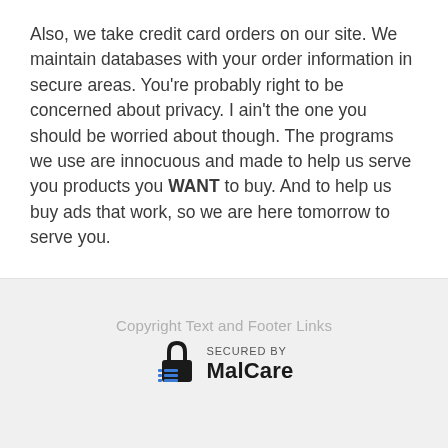Also, we take credit card orders on our site. We maintain databases with your order information in secure areas. You're probably right to be concerned about privacy. I ain't the one you should be worried about though. The programs we use are innocuous and made to help us serve you products you WANT to buy. And to help us buy ads that work, so we are here tomorrow to serve you.
Copyright Text and Footer Links
[Figure (logo): Secured by MalCare logo badge with lock icon and horizontal lines]